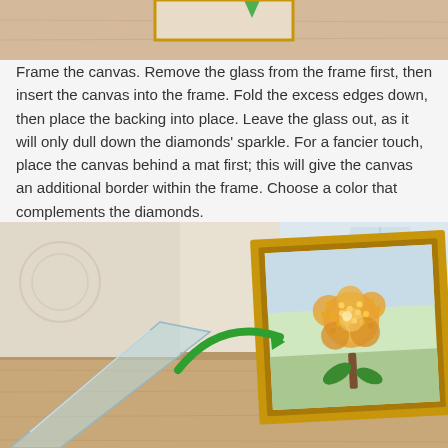[Figure (illustration): Top portion of an illustration showing a canvas or diamond painting being prepared, with beige/wood tones visible at the top of the page.]
Frame the canvas. Remove the glass from the frame first, then insert the canvas into the frame. Fold the excess edges down, then place the backing into place. Leave the glass out, as it will only dull down the diamonds' sparkle. For a fancier touch, place the canvas behind a mat first; this will give the canvas an additional border within the frame. Choose a color that complements the diamonds.
[Figure (illustration): Illustration showing a framed diamond painting of a rose (yellow/orange rose made of diamond-like beads with green leaves and stem) leaning on a wooden surface with a green arrow pointing to it, and a piece of glass separated to the left side.]